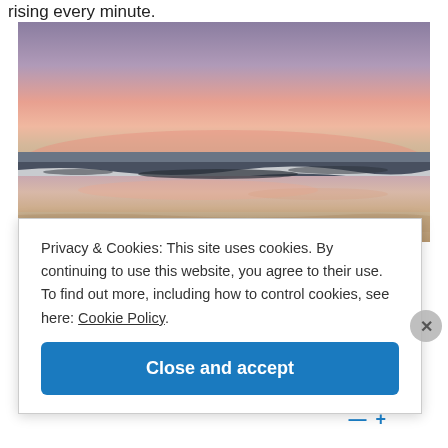rising every minute.
[Figure (photo): Beach sunset photo showing ocean waves with a pink and purple sky at dusk, sandy foreground with shallow water reflections]
Privacy & Cookies: This site uses cookies. By continuing to use this website, you agree to their use.
To find out more, including how to control cookies, see here: Cookie Policy
Close and accept